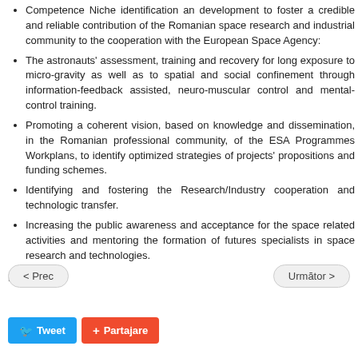Competence Niche identification an development to foster a credible and reliable contribution of the Romanian space research and industrial community to the cooperation with the European Space Agency:
The astronauts' assessment, training and recovery for long exposure to micro-gravity as well as to spatial and social confinement through information-feedback assisted, neuro-muscular control and mental-control training.
Promoting a coherent vision, based on knowledge and dissemination, in the Romanian professional community, of the ESA Programmes Workplans, to identify optimized strategies of projects' propositions and funding schemes.
Identifying and fostering the Research/Industry cooperation and technologic transfer.
Increasing the public awareness and acceptance for the space related activities and mentoring the formation of futures specialists in space research and technologies.
Homepage: